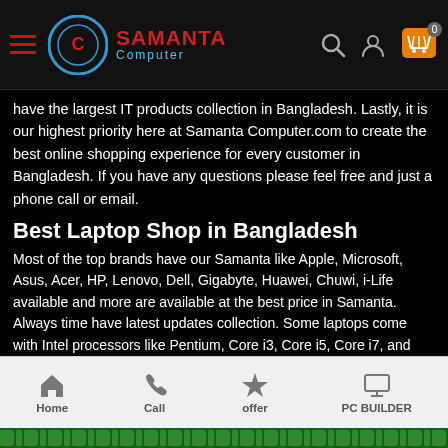Samanta Computer - navigation bar with logo, search, account, and cart
have the largest IT products collection in Bangladesh. Lastly, it is our highest priority here at Samanta Computer.com to create the best online shopping experience for every customer in Bangladesh. If you have any questions please feel free and just a phone call or email.
Best Laptop Shop in Bangladesh
Most of the top brands have our Samanta like Apple, Microsoft, Asus, Acer, HP, Lenovo, Dell, Gigabyte, Huawei, Chuwi, i-Life available and more are available at the best price in Samanta. Always time have latest updates collection. Some laptops come with Intel processors like Pentium, Core i3, Core i5, Core i7, and Core i9. More are Available some laptops are AMD processor-based and include processors like Ryzen 3, Ryzen 5, Ryzen 7, Ryzen 9, etc.
Best Computer Shop in Bangladesh
Home | Call | offer | PC BUILDER